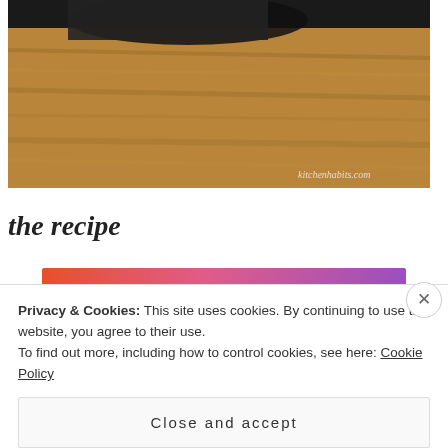[Figure (photo): Photo of a wooden surface with a dark object, watermark reading 'kitchenhabits.com']
the recipe
[Figure (illustration): Tumblr promotional banner with orange-to-purple gradient and text 'ON tumblr']
Privacy & Cookies: This site uses cookies. By continuing to use this website, you agree to their use.
To find out more, including how to control cookies, see here: Cookie Policy
Close and accept